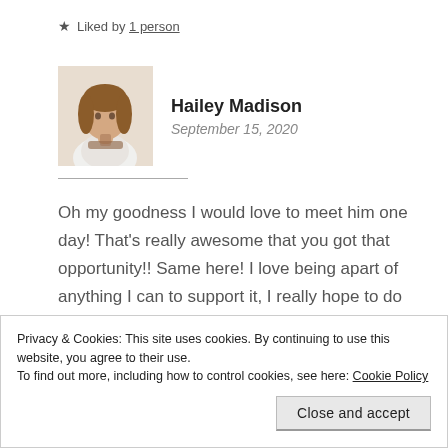★ Liked by 1 person
Hailey Madison
September 15, 2020
Oh my goodness I would love to meet him one day! That's really awesome that you got that opportunity!! Same here! I love being apart of anything I can to support it, I really hope to do
Privacy & Cookies: This site uses cookies. By continuing to use this website, you agree to their use.
To find out more, including how to control cookies, see here: Cookie Policy
Close and accept